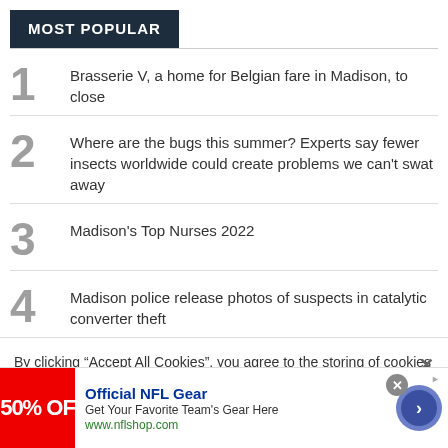MOST POPULAR
Brasserie V, a home for Belgian fare in Madison, to close
Where are the bugs this summer? Experts say fewer insects worldwide could create problems we can't swat away
Madison's Top Nurses 2022
Madison police release photos of suspects in catalytic converter theft
By clicking “Accept All Cookies”, you agree to the storing of cookies on your device to enhance site navigation, analyze site usage, and assist in our marketing efforts.
[Figure (infographic): Advertisement banner for Official NFL Gear showing red banner with '50% OFF', blue text 'Official NFL Gear', subtext 'Get Your Favorite Team's Gear Here', URL 'www.nflshop.com', and a circular arrow button.]